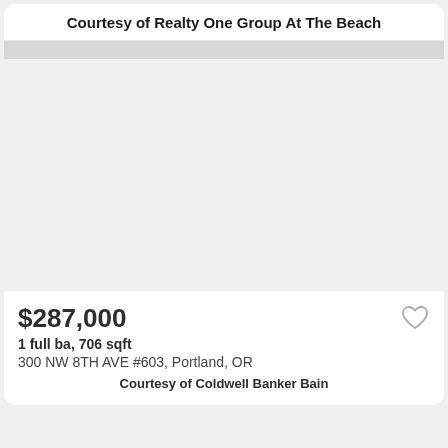Courtesy of Realty One Group At The Beach
[Figure (photo): Blank/empty photo area for property listing]
$287,000
1 full ba, 706 sqft
300 NW 8TH AVE #603, Portland, OR
Courtesy of Coldwell Banker Bain